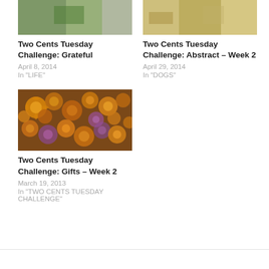[Figure (photo): Partial top of image, left column - cropped photo at top of page]
Two Cents Tuesday Challenge: Grateful
April 8, 2014
In "LIFE"
[Figure (photo): Partial top of image, right column - cropped photo at top of page]
Two Cents Tuesday Challenge: Abstract – Week 2
April 29, 2014
In "DOGS"
[Figure (photo): Photo of orange and yellow dried flowers (strawflowers/everlastings)]
Two Cents Tuesday Challenge: Gifts – Week 2
March 19, 2013
In "TWO CENTS TUESDAY CHALLENGE"